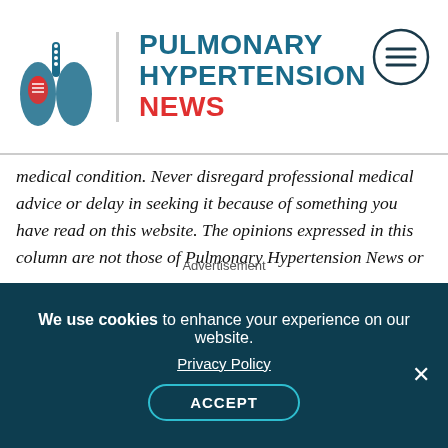[Figure (logo): Pulmonary Hypertension News logo with lungs illustration and site name]
medical condition. Never disregard professional medical advice or delay in seeking it because of something you have read on this website. The opinions expressed in this column are not those of Pulmonary Hypertension News or its parent company, BioNews Services, and are intended to spark discussion about issues pertaining to pulmonary hypertension.
Advertisement
We use cookies to enhance your experience on our website. Privacy Policy ACCEPT